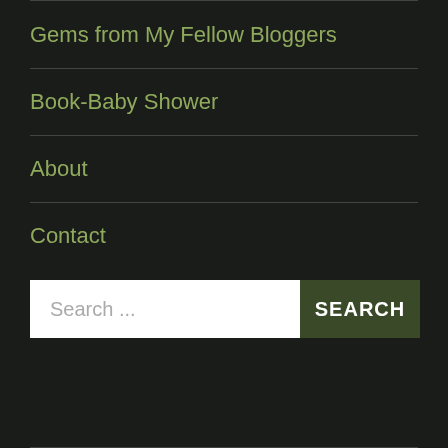Gems from My Fellow Bloggers
Book-Baby Shower
About
Contact
[Figure (other): Search input box with placeholder 'Search ...' and a dark green SEARCH button]